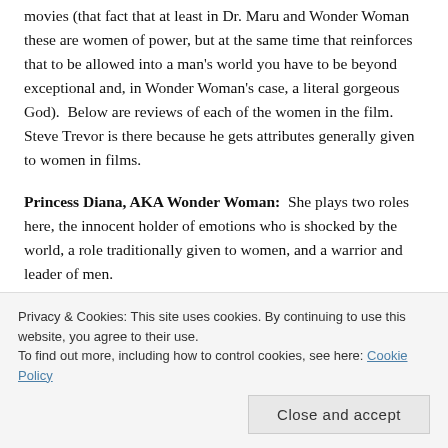movies (that fact that at least in Dr. Maru and Wonder Woman these are women of power, but at the same time that reinforces that to be allowed into a man's world you have to be beyond exceptional and, in Wonder Woman's case, a literal gorgeous God).  Below are reviews of each of the women in the film.  Steve Trevor is there because he gets attributes generally given to women in films.
Princess Diana, AKA Wonder Woman:  She plays two roles here, the innocent holder of emotions who is shocked by the world, a role traditionally given to women, and a warrior and leader of men.
In her first role she shows the emotions others have become inured to to the point of inaction.  When villages of women and children are being destroyed, she cries and is horrified but then leans to action.
Privacy & Cookies: This site uses cookies. By continuing to use this website, you agree to their use.
To find out more, including how to control cookies, see here: Cookie Policy
Close and accept